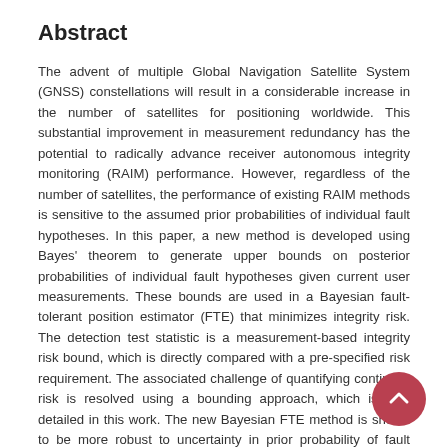Abstract
The advent of multiple Global Navigation Satellite System (GNSS) constellations will result in a considerable increase in the number of satellites for positioning worldwide. This substantial improvement in measurement redundancy has the potential to radically advance receiver autonomous integrity monitoring (RAIM) performance. However, regardless of the number of satellites, the performance of existing RAIM methods is sensitive to the assumed prior probabilities of individual fault hypotheses. In this paper, a new method is developed using Bayes' theorem to generate upper bounds on posterior probabilities of individual fault hypotheses given current user measurements. These bounds are used in a Bayesian fault-tolerant position estimator (FTE) that minimizes integrity risk. The detection test statistic is a measurement-based integrity risk bound, which is directly compared with a pre-specified risk requirement. The associated challenge of quantifying continuity risk is resolved using a bounding approach, which is also detailed in this work. The new Bayesian FTE method is shown to be more robust to uncertainty in prior probability of fault occurrence than existing RAIM methods.